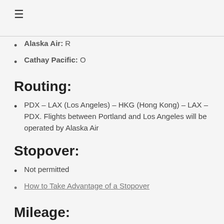≡
Alaska Air: R
Cathay Pacific: O
Routing:
PDX – LAX (Los Angeles) – HKG (Hong Kong) – LAX – PDX. Flights between Portland and Los Angeles will be operated by Alaska Air
Stopover:
Not permitted
How to Take Advantage of a Stopover
Mileage: